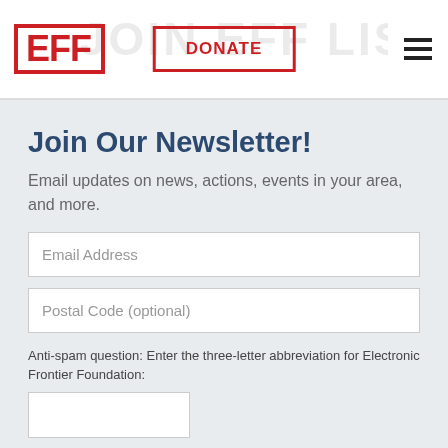JOIN EFF LISTS
[Figure (logo): EFF logo in red bold block letters with red border]
DONATE
Join Our Newsletter!
Email updates on news, actions, events in your area, and more.
Email Address
Postal Code (optional)
Anti-spam question: Enter the three-letter abbreviation for Electronic Frontier Foundation:
SUBMiT